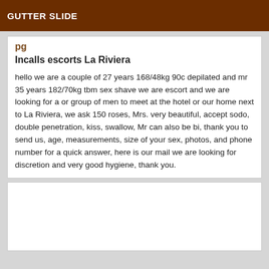GUTTER SLIDE
Incalls escorts La Riviera
hello we are a couple of 27 years 168/48kg 90c depilated and mr 35 years 182/70kg tbm sex shave we are escort and we are looking for a or group of men to meet at the hotel or our home next to La Riviera, we ask 150 roses, Mrs. very beautiful, accept sodo, double penetration, kiss, swallow, Mr can also be bi, thank you to send us, age, measurements, size of your sex, photos, and phone number for a quick answer, here is our mail we are looking for discretion and very good hygiene, thank you.